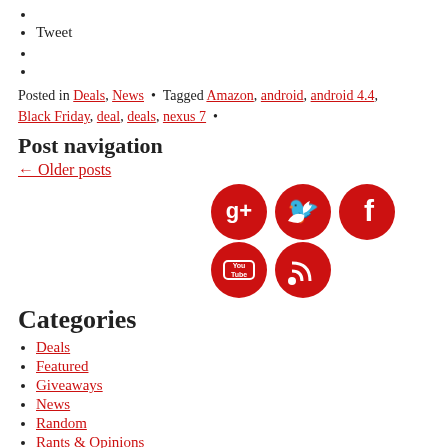Tweet
Posted in Deals, News • Tagged Amazon, android, android 4.4, Black Friday, deal, deals, nexus 7 •
Post navigation
← Older posts
[Figure (infographic): Row of 5 red circular social media icons: Google+, Twitter, Facebook, YouTube, RSS feed]
Categories
Deals
Featured
Giveaways
News
Random
Rants & Opinions